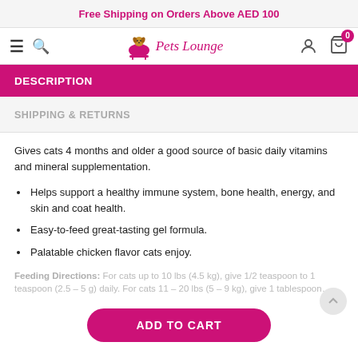Free Shipping on Orders Above AED 100
[Figure (logo): Pets Lounge logo with cartoon dog in bathtub and script text 'Pets Lounge']
DESCRIPTION
SHIPPING & RETURNS
Gives cats 4 months and older a good source of basic daily vitamins and mineral supplementation.
Helps support a healthy immune system, bone health, energy, and skin and coat health.
Easy-to-feed great-tasting gel formula.
Palatable chicken flavor cats enjoy.
Feeding Directions: For cats up to 10 lbs (4.5 kg), give 1/2 teaspoon to 1 teaspoon (2.5 – 5 g) daily. For cats 11 – 20 lbs (5 – 9 kg), give 1 tablespoon…